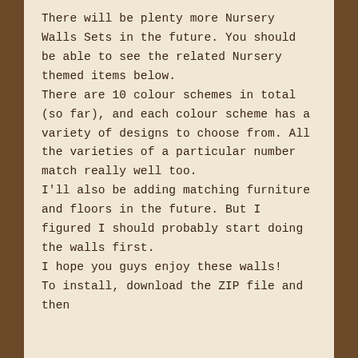There will be plenty more Nursery Walls Sets in the future. You should be able to see the related Nursery themed items below.
There are 10 colour schemes in total (so far), and each colour scheme has a variety of designs to choose from. All the varieties of a particular number match really well too.
I'll also be adding matching furniture and floors in the future. But I figured I should probably start doing the walls first.
I hope you guys enjoy these walls!
To install, download the ZIP file and then